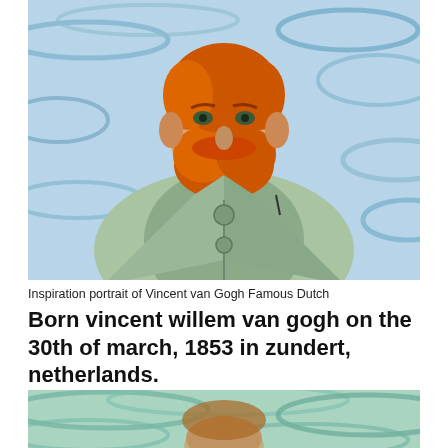[Figure (illustration): Portrait painting in the style of Vincent van Gogh showing a man with orange-red beard wearing a light green/blue jacket with swirling brushstroke background in blues and greens]
Inspiration portrait of Vincent van Gogh Famous Dutch
Born vincent willem van gogh on the 30th of march, 1853 in zundert, netherlands.
[Figure (illustration): Partial view of another Van Gogh style painting showing swirling teal/green background with partial figure visible at bottom]